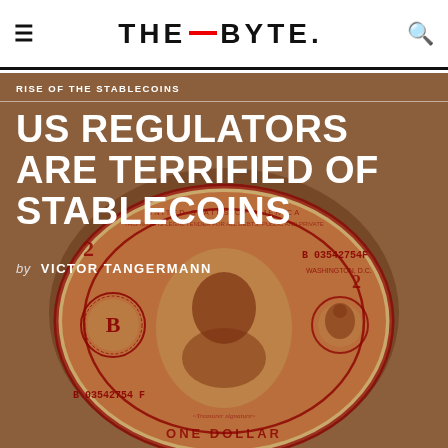THE_BYTE.
RISE OF THE STABLECOINS
US REGULATORS ARE TERRIFIED OF STABLECOINS
by VICTOR TANGERMANN
[Figure (illustration): A stylized US one-dollar bill shaped and rendered as an oval coin, showing George Washington's portrait in a dark red/maroon color scheme against a tan background, with visible serial number B03542754F and other dollar bill markings, placed on a warm brown background.]